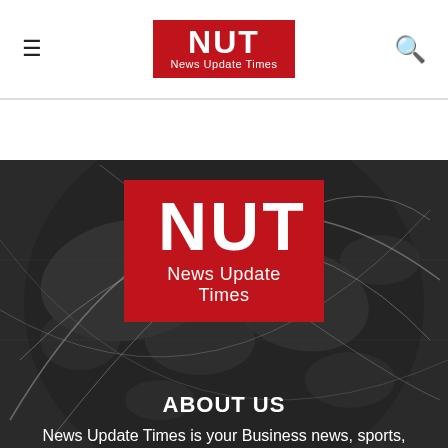NUT News Update Times
[Figure (illustration): Dark globe background with white network arc lines overlaid, showing world map continents in dark grey tones.]
NUT News Update Times
ABOUT US
News Update Times is your Business news, sports,